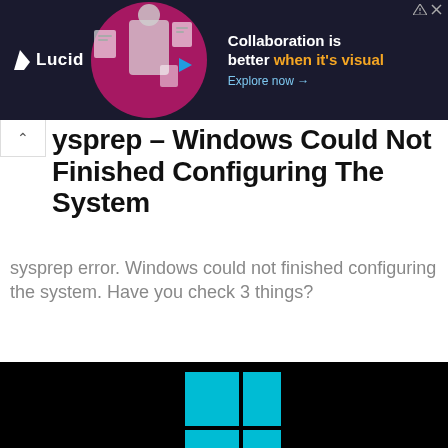[Figure (screenshot): Lucid advertisement banner: dark navy background with person image, Lucid logo, text 'Collaboration is better when it's visual. Explore now →']
sysprep – Windows Could Not Finished Configuring The System
sysprep error. Windows could not finished configuring the system. Have you check 3 things?
[Figure (screenshot): Windows installation error screenshot on black background showing Windows logo in cyan and an 'Install Windows' dialog box with error message: 'Windows could not finish configuring the system. To attempt to resume configuration, restart the computer.' with a red X error icon. Watermark '© Invisible Algorithm' visible.]